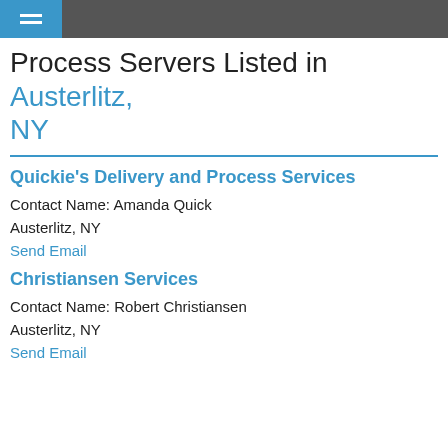Process Servers Listed in Austerlitz, NY
Quickie's Delivery and Process Services
Contact Name: Amanda Quick
Austerlitz, NY
Send Email
Christiansen Services
Contact Name: Robert Christiansen
Austerlitz, NY
Send Email